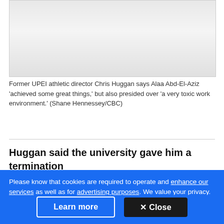[Figure (photo): A light gray placeholder image area representing a photo]
Former UPEI athletic director Chris Huggan says Alaa Abd-El-Aziz 'achieved some great things,' but also presided over 'a very toxic work environment.' (Shane Hennessey/CBC)
Huggan said the university gave him a termination
Please know that cookies are required to operate and enhance our services as well as for advertising purposes. We value your privacy. If you are not comfortable with us using this information, please review your settings before continuing your visit.
Learn more
✕ Close